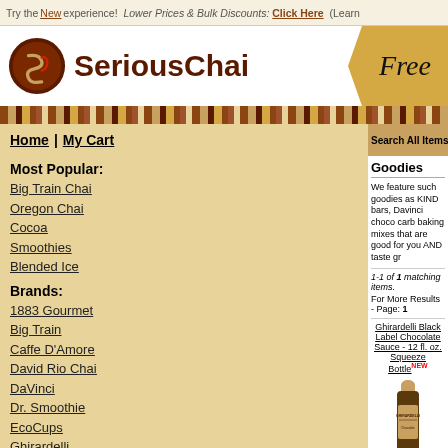Try the New experience! Lower Prices & Bulk Discounts: Click Here (Learn
My Cart
SeriousChai
Free
Home | My Cart
Search All Items:
Most Popular:
Big Train Chai
Oregon Chai
Cocoa
Smoothies
Blended Ice
Brands:
1883 Gourmet
Big Train
Caffe D'Amore
David Rio Chai
DaVinci
Dr. Smoothie
EcoCups
Ghirardelli
Guittard
Hershey's
Jet
Lavazza
Goodies
We feature such goodies as KIND bars, Davinci choco carb baking mixes that are good for you AND taste gr
1-1 of 1 matching items.
For More Results - Page: 1
Ghirardelli Black Label Chocolate Sauce - 12 fl. oz. Squeeze BottleNEW
[Figure (photo): Ghirardelli Black Label Chocolate Sauce squeeze bottle product image]